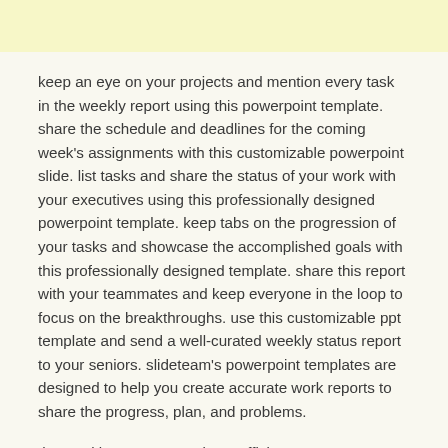keep an eye on your projects and mention every task in the weekly report using this powerpoint template. share the schedule and deadlines for the coming week's assignments with this customizable powerpoint slide. list tasks and share the status of your work with your executives using this professionally designed powerpoint template. keep tabs on the progression of your tasks and showcase the accomplished goals with this professionally designed template. share this report with your teammates and keep everyone in the loop to focus on the breakthroughs. use this customizable ppt template and send a well-curated weekly status report to your seniors. slideteam's powerpoint templates are designed to help you create accurate work reports to share the progress, plan, and problems.
the weekly status report is an efficient management